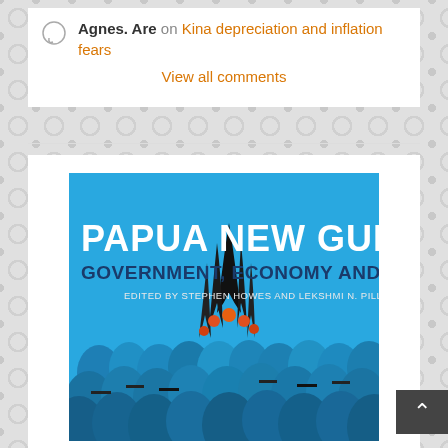Agnes. Are on Kina depreciation and inflation fears
View all comments
[Figure (photo): Book cover for 'Papua New Guinea: Government, Economy and Society', edited by Stephen Howes and Lekshmi N. Pillai. Blue background with white bold title text, showing a crowd of graduates in blue robes with traditional PNG headdress decoration.]